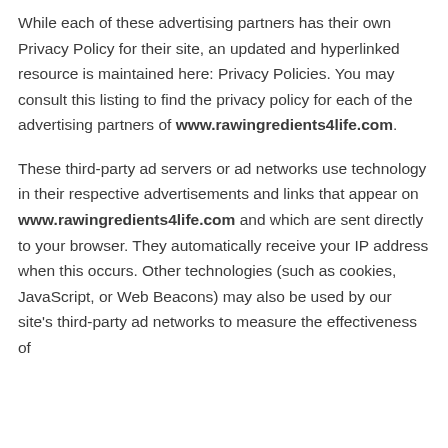While each of these advertising partners has their own Privacy Policy for their site, an updated and hyperlinked resource is maintained here: Privacy Policies. You may consult this listing to find the privacy policy for each of the advertising partners of www.rawingredients4life.com.
These third-party ad servers or ad networks use technology in their respective advertisements and links that appear on www.rawingredients4life.com and which are sent directly to your browser. They automatically receive your IP address when this occurs. Other technologies (such as cookies, JavaScript, or Web Beacons) may also be used by our site's third-party ad networks to measure the effectiveness of